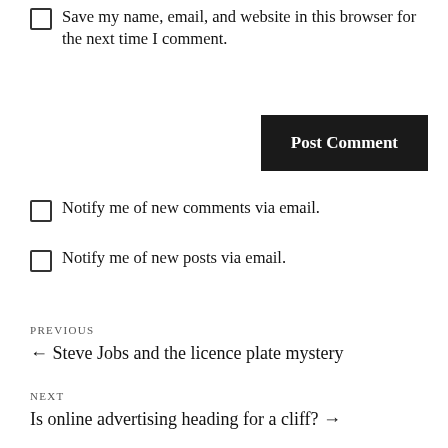Save my name, email, and website in this browser for the next time I comment.
Post Comment
Notify me of new comments via email.
Notify me of new posts via email.
PREVIOUS
← Steve Jobs and the licence plate mystery
NEXT
Is online advertising heading for a cliff? →